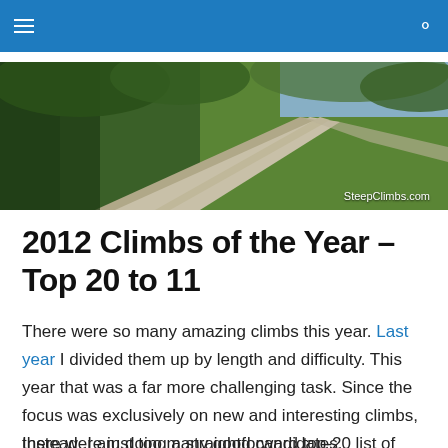SteepClimbs.com navigation bar
[Figure (photo): Banner photo of a winding road through dense green forest, with text watermark 'SteepClimbs.com' in lower right corner.]
2012 Climbs of the Year – Top 20 to 11
There were so many amazing climbs this year. Last year I divided them up by length and difficulty. This year that was a far more challenging task. Since the focus was exclusively on new and interesting climbs, there were just too many good candidates.
Instead, I am doing a straightforward top-20 list of climbs